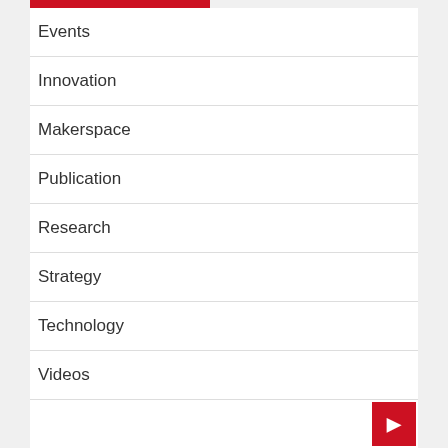Events
Innovation
Makerspace
Publication
Research
Strategy
Technology
Videos